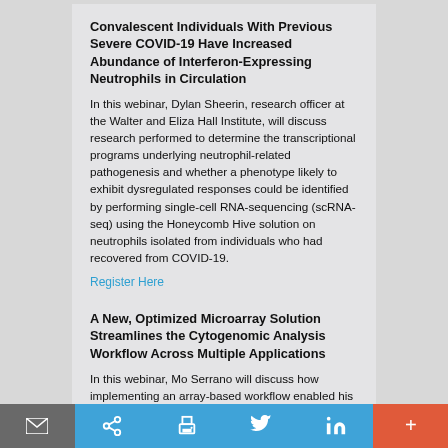Convalescent Individuals With Previous Severe COVID-19 Have Increased Abundance of Interferon-Expressing Neutrophils in Circulation
In this webinar, Dylan Sheerin, research officer at the Walter and Eliza Hall Institute, will discuss research performed to determine the transcriptional programs underlying neutrophil-related pathogenesis and whether a phenotype likely to exhibit dysregulated responses could be identified by performing single-cell RNA-sequencing (scRNA-seq) using the Honeycomb Hive solution on neutrophils isolated from individuals who had recovered from COVID-19.
Register Here
A New, Optimized Microarray Solution Streamlines the Cytogenomic Analysis Workflow Across Multiple Applications
In this webinar, Mo Serrano will discuss how implementing an array-based workflow enabled his CLIA-certified laboratory to streamline operations and deliver results quickly and accurately.